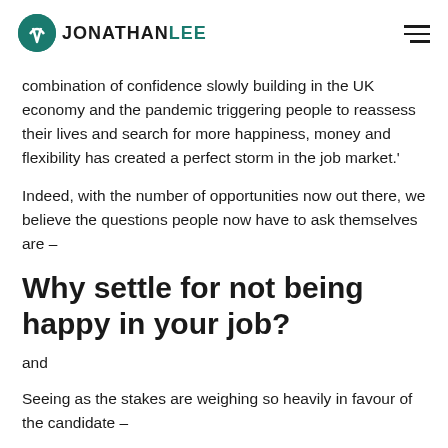JONATHAN LEE
combination of confidence slowly building in the UK economy and the pandemic triggering people to reassess their lives and search for more happiness, money and flexibility has created a perfect storm in the job market.'
Indeed, with the number of opportunities now out there, we believe the questions people now have to ask themselves are –
Why settle for not being happy in your job?
and
Seeing as the stakes are weighing so heavily in favour of the candidate –